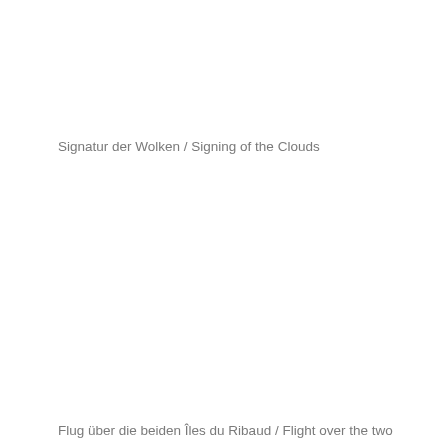Signatur der Wolken / Signing of the Clouds
Flug über die beiden Îles du Ribaud / Flight over the two